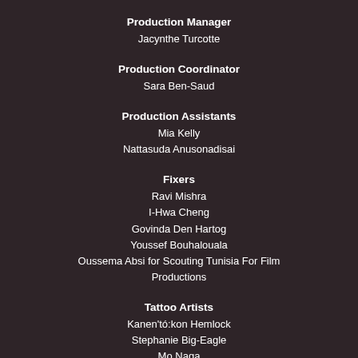Production Manager
Jacynthe Turcotte
Production Coordinator
Sara Ben-Saud
Production Assistants
Mia Kelly
Nattasuda Anusonadisai
Fixers
Ravi Mishra
I-Hwa Cheng
Govinda Den Hartog
Youssef Bouhalouala
Oussema Absi for Scouting Tunisia For Film Productions
Tattoo Artists
Kanen'tó:kon Hemlock
Stephanie Big-Eagle
Mo Naga
Cudjuy Patjidresw
Audie Murray
"Onaman Collective" – Isaac Murdoch& Christi Belcourt